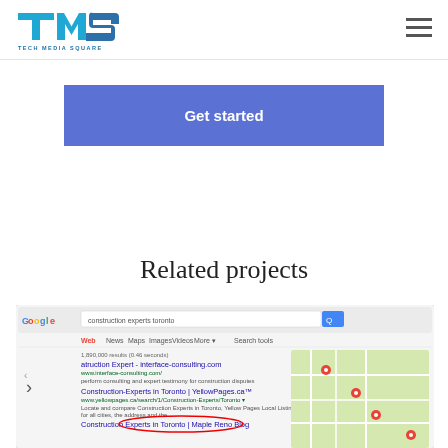[Figure (logo): Tech Media Square (TMS) logo — blue/teal stylized letters TMS above the text TECH MEDIA SQUARE]
[Figure (other): Hamburger menu icon (three horizontal lines)]
Get started
Related projects
[Figure (screenshot): Screenshot of a Google search results page for 'construction experts toronto' showing search results including interface-consulting.com, YellowPages.ca, and Maple Reno Blog, with a Google Maps panel on the right showing location pins]